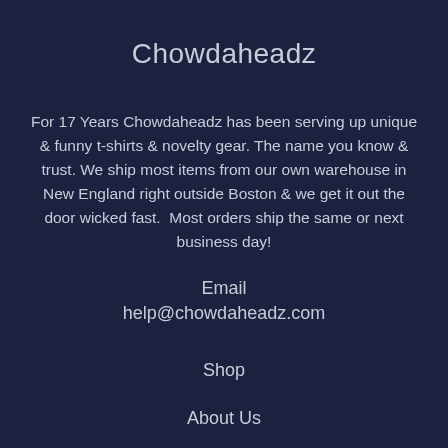Chowdaheadz
For 17 Years Chowdaheadz has been serving up unique & funny t-shirts & novelty gear. The name you know & trust. We ship most items from our own warehouse in New England right outside Boston & we get it out the door wicked fast.  Most orders ship the same or next business day!
Email
help@chowdaheadz.com
Shop
About Us